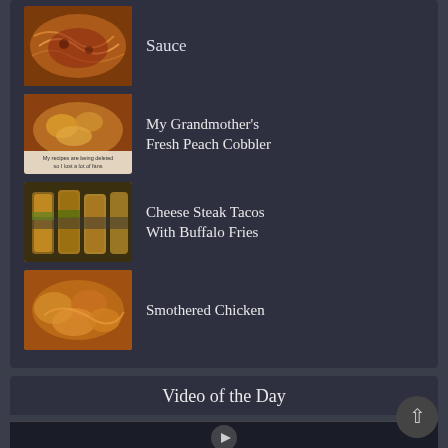Sauce
My Grandmother's Fresh Peach Cobbler
Cheese Steak Tacos With Buffalo Fries
Smothered Chicken
Video of the Day